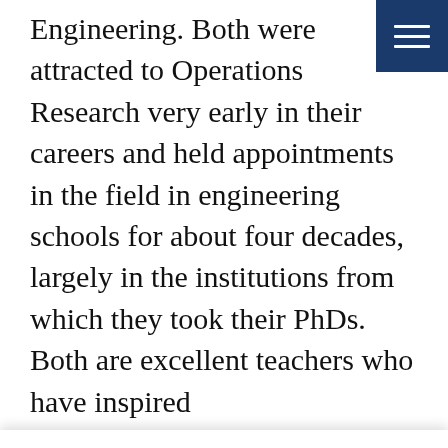[Figure (other): Dark blue navigation menu button (hamburger icon) in the top-right corner]
Engineering. Both were attracted to Operations Research very early in their careers and held appointments in the field in engineering schools for about four decades, largely in the institutions from which they took their PhDs. Both are excellent teachers who have inspired
This website stores cookies on your computer. These cookies are used to collect information about how you interact with our website and allow us to remember you. We use this information in order to improve and customize your browsing experience and for analytics and metrics about our visitors both on this website and other media. To find out more about the cookies we use, see our Privacy Policy.
If you decline, your information won't be tracked when you visit this website. A single cookie will be used in your browser to remember your preference not to be tracked.
Accept
Decline